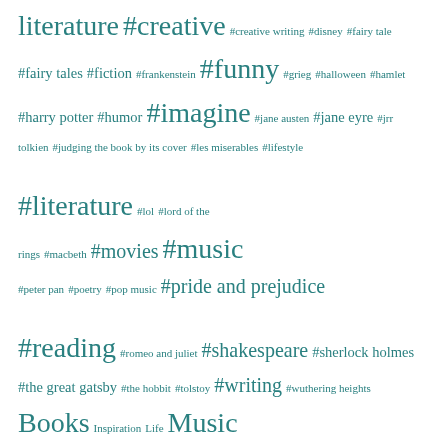literature #creative #creative writing #disney #fairy tale #fairy tales #fiction #frankenstein #funny #grieg #halloween #hamlet #harry potter #humor #imagine #jane austen #jane eyre #jrr tolkien #judging the book by its cover #les miserables #lifestyle #literature #lol #lord of the rings #macbeth #movies #music #peter pan #poetry #pop music #pride and prejudice #reading #romeo and juliet #shakespeare #sherlock holmes #the great gatsby #the hobbit #tolstoy #writing #wuthering heights Books Inspiration Life Music
– Archives –
April 2019